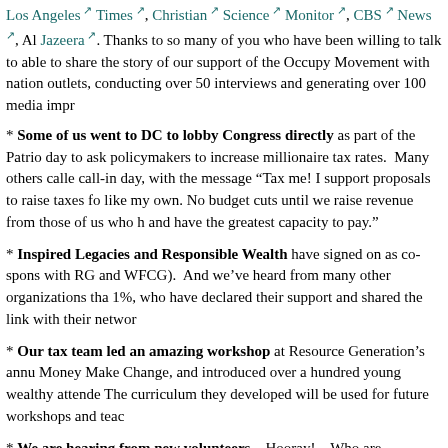Los Angeles Times, Christian Science Monitor, CBS News, Al Jazeera. Thanks to so many of you who have been willing to talk to able to share the story of our support of the Occupy Movement with national outlets, conducting over 50 interviews and generating over 100 media impressions.
* Some of us went to DC to lobby Congress directly as part of the Patriot day to ask policymakers to increase millionaire tax rates. Many others called call-in day, with the message "Tax me! I support proposals to raise taxes for like my own. No budget cuts until we raise revenue from those of us who have and have the greatest capacity to pay."
* Inspired Legacies and Responsible Wealth have signed on as co-sponsors (with RG and WFCG). And we've heard from many other organizations that 1%, who have declared their support and shared the link with their networks.
* Our tax team led an amazing workshop at Resource Generation's annual Money Make Change, and introduced over a hundred young wealthy attendees. The curriculum they developed will be used for future workshops and teaching.
* We are hearing from new volunteers – Hooray! – Who are interested in going.
What's next, and how you can get involved…